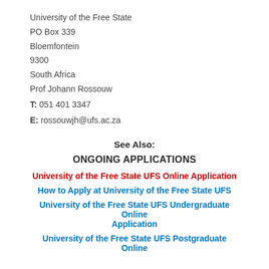University of the Free State
PO Box 339
Bloemfontein
9300
South Africa
Prof Johann Rossouw
T: 051 401 3347
E: rossouwjh@ufs.ac.za
See Also:
ONGOING APPLICATIONS
University of the Free State UFS Online Application
How to Apply at University of the Free State UFS
University of the Free State UFS Undergraduate Online Application
University of the Free State UFS Postgraduate Online